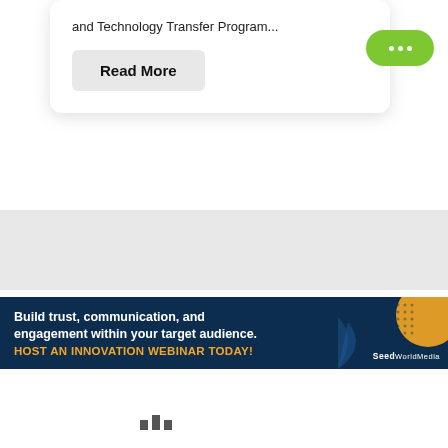and Technology Transfer Program...
Read More
[Figure (other): Green pill-shaped button with three white dots (ellipsis/more options indicator)]
[Figure (other): Light gray horizontal band spanning full width]
[Figure (other): Advertisement banner with dark navy background. Left side shows text: 'Build trust, communication, and engagement within your target audience. HOST AN INNOVATION WEBINAR TODAY!' Right side shows dotted orange circle graphic and SeedWorldMedia logo.]